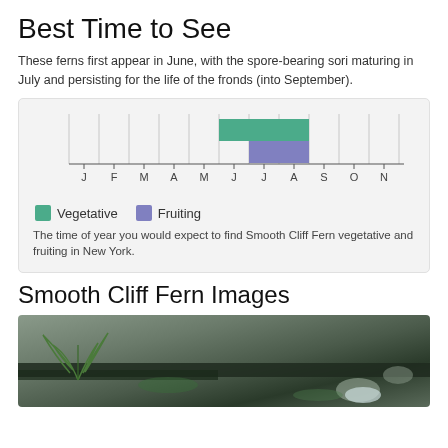Best Time to See
These ferns first appear in June, with the spore-bearing sori maturing in July and persisting for the life of the fronds (into September).
[Figure (bar-chart): ]
The time of year you would expect to find Smooth Cliff Fern vegetative and fruiting in New York.
Smooth Cliff Fern Images
[Figure (photo): Photo of rocky cliff surface with fern plants growing at base, showing Smooth Cliff Fern habitat in New York.]